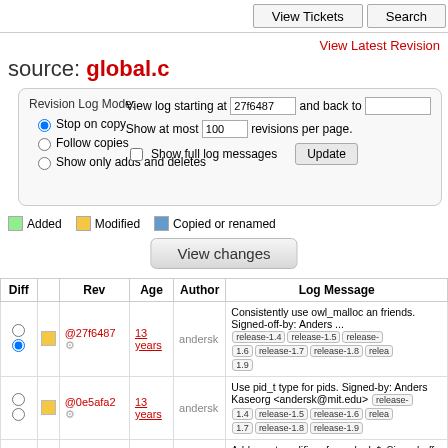View Tickets  Search
View Latest Revision
source: global.c
Revision Log Mode: Stop on copy / Follow copies / Show only adds and deletes | View log starting at 27f6487 and back to | Show at most 100 revisions per page. | Show full log messages | Update
Added   Modified   Copied or renamed
View changes
| Diff |  | Rev | Age | Author | Log Message |
| --- | --- | --- | --- | --- | --- |
|  |  | @27f6487 | 13 years | andersk | Consistently use owl_malloc and friends. Signed-off-by: Anders ... release-1.4 release-1.5 release-1.6 release-1.7 release-1.8 release-1.9 |
|  |  | @0e5afa2 | 13 years | andersk | Use pid_t type for pids. Signed-by: Anders Kaseorg <andersk@mit.edu> release-1.4 release-1.5 release-1.6 release-1.7 release-1.8 release-1.9 |
|  |  | @8742840 | 13 years | andersk | Add const qualifiers for owl_glo*. Signed-off-by: Anders Kaseor release-1.4 release-1.5 release-1.6 release-1.7 release-1.8 release-1.9 |
|  |  |  |  |  | Add const qualifiers for owl_vie... |